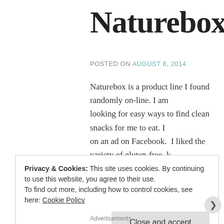Naturebox
POSTED ON AUGUST 8, 2014
Naturebox is a product line I found randomly on-line. I am looking for easy ways to find clean snacks for me to eat. I on an ad on Facebook. I liked the variety of gluten-free, k free items. It has a mix of sweet, savory and spicy. It is $2
Posted in fitness | Tagged clean eating, fitness, health, naturebox | 4 Comments
Privacy & Cookies: This site uses cookies. By continuing to use this website, you agree to their use.
To find out more, including how to control cookies, see here: Cookie Policy
Close and accept
Advertisements